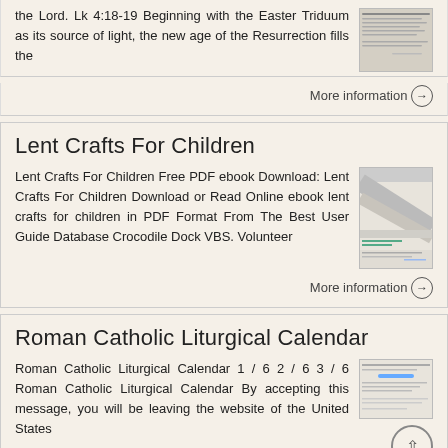the Lord. Lk 4:18-19 Beginning with the Easter Triduum as its source of light, the new age of the Resurrection fills the
[Figure (screenshot): Thumbnail image of a document page with dense text]
More information →
Lent Crafts For Children
Lent Crafts For Children Free PDF ebook Download: Lent Crafts For Children Download or Read Online ebook lent crafts for children in PDF Format From The Best User Guide Database Crocodile Dock VBS. Volunteer
[Figure (screenshot): Thumbnail image of a document with diagonal lines and green button]
More information →
Roman Catholic Liturgical Calendar
Roman Catholic Liturgical Calendar 1 / 6 2 / 6 3 / 6 Roman Catholic Liturgical Calendar By accepting this message, you will be leaving the website of the United States
[Figure (screenshot): Thumbnail image of a document page with blue bar]